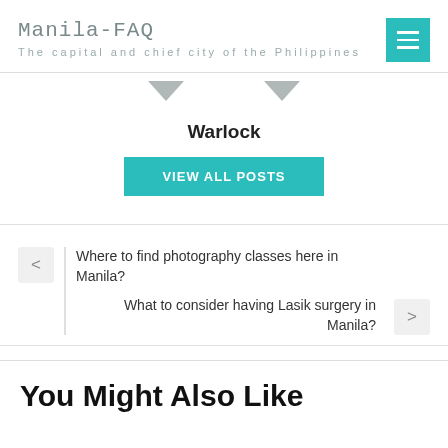Manila-FAQ
The capital and chief city of the Philippines
Warlock
VIEW ALL POSTS
Where to find photography classes here in Manila?
What to consider having Lasik surgery in Manila?
You Might Also Like